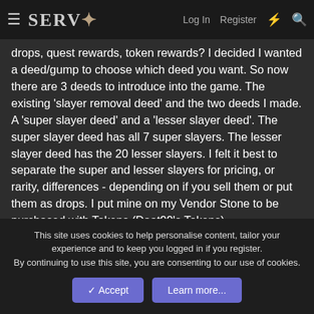SERVO — Log In  Register
drops, quest rewards, token rewards? I decided I wanted a deed/gump to choose which deed you want. So now there are 3 deeds to introduce into the game. The existing 'slayer removal deed' and the two deeds I made. A 'super slayer deed' and a 'lesser slayer deed'. The super slayer deed has all 7 super slayers. The lesser slayer deed has the 20 lesser slayers. I felt it best to separate the super and lesser slayers for pricing, or rarity, differences - depending on if you sell them or put them as drops. I put mine on my Vendor Stone to be purchased with Tokens (Daat99's Tokens).
Tukaram 20MAY2016
This site uses cookies to help personalise content, tailor your experience and to keep you logged in if you register.
By continuing to use this site, you are consenting to our use of cookies.